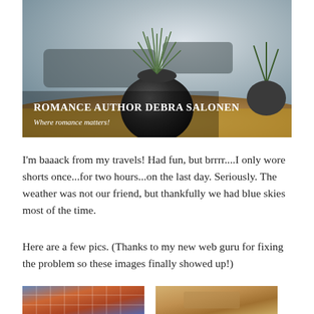[Figure (photo): Header banner photo of a succulent plant in a round black pot on a wooden table with blurred background, text overlay reading 'ROMANCE AUTHOR DEBRA SALONEN' and 'Where romance matters!']
I'm baaack from my travels! Had fun, but brrrr....I only wore shorts once...for two hours...on the last day. Seriously. The weather was not our friend, but thankfully we had blue skies most of the time.
Here are a few pics. (Thanks to my new web guru for fixing the problem so these images finally showed up!)
[Figure (photo): Two partial photos at the bottom: left shows a colorful mosaic or tile pattern in blues and reds; right shows a warm wooden surface or landscape.]